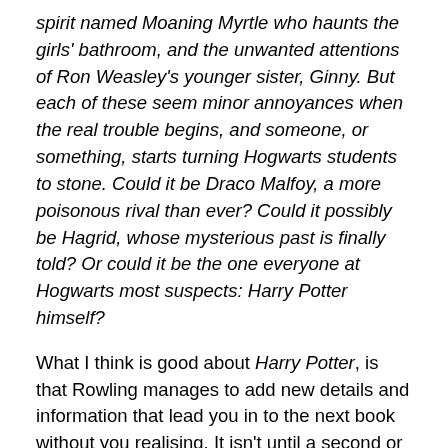spirit named Moaning Myrtle who haunts the girls' bathroom, and the unwanted attentions of Ron Weasley's younger sister, Ginny. But each of these seem minor annoyances when the real trouble begins, and someone, or something, starts turning Hogwarts students to stone. Could it be Draco Malfoy, a more poisonous rival than ever? Could it possibly be Hagrid, whose mysterious past is finally told? Or could it be the one everyone at Hogwarts most suspects: Harry Potter himself?
What I think is good about Harry Potter, is that Rowling manages to add new details and information that lead you in to the next book without you realising. It isn't until a second or third reading you notice how new bits of information help the story in the following book. The writing is very easy to manage, the books do get longer but the language and writing style is simple but detailed and filled